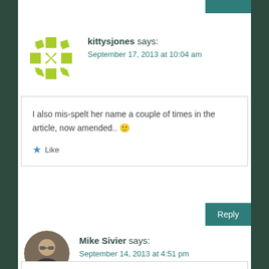kittysjones says: September 17, 2013 at 10:04 am
I also mis-spelt her name a couple of times in the article, now amended.. 🙂
Like
Reply
Mike Sivier says: September 14, 2013 at 4:51 pm
Reblogged this on Vox Political.